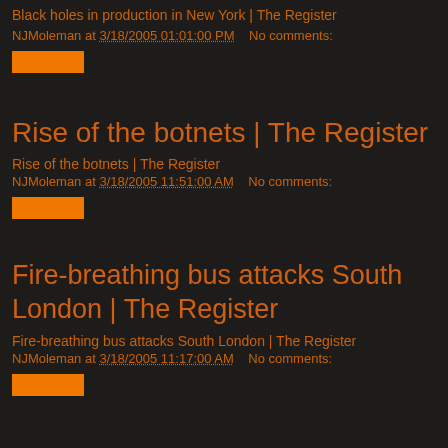Black holes in production in New York | The Register
NJMoleman at 3/18/2005 01:01:00 PM   No comments:
[Figure (other): Orange button/link element]
Rise of the botnets | The Register
Rise of the botnets | The Register
NJMoleman at 3/18/2005 11:51:00 AM   No comments:
[Figure (other): Orange button/link element]
Fire-breathing bus attacks South London | The Register
Fire-breathing bus attacks South London | The Register
NJMoleman at 3/18/2005 11:17:00 AM   No comments:
[Figure (other): Orange button/link element]